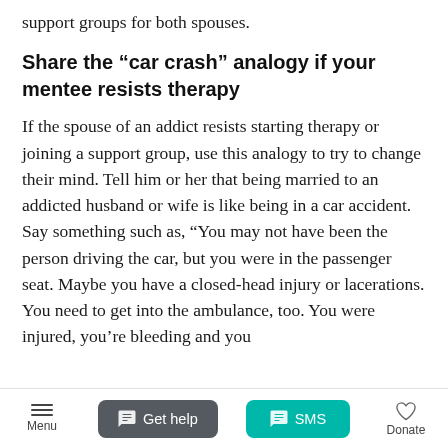support groups for both spouses.
Share the “car crash” analogy if your mentee resists therapy
If the spouse of an addict resists starting therapy or joining a support group, use this analogy to try to change their mind. Tell him or her that being married to an addicted husband or wife is like being in a car accident. Say something such as, “You may not have been the person driving the car, but you were in the passenger seat. Maybe you have a closed-head injury or lacerations. You need to get into the ambulance, too. You were injured, you’re bleeding and you
Menu   Get help   SMS   Donate